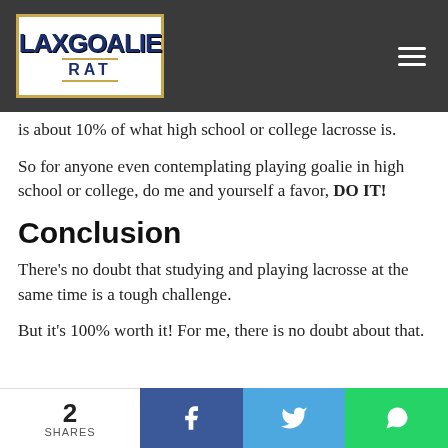Lax Goalie Rat
is about 10% of what high school or college lacrosse is.
So for anyone even contemplating playing goalie in high school or college, do me and yourself a favor, DO IT!
Conclusion
There's no doubt that studying and playing lacrosse at the same time is a tough challenge.
But it's 100% worth it! For me, there is no doubt about that.
2 SHARES | Facebook | Twitter | WhatsApp